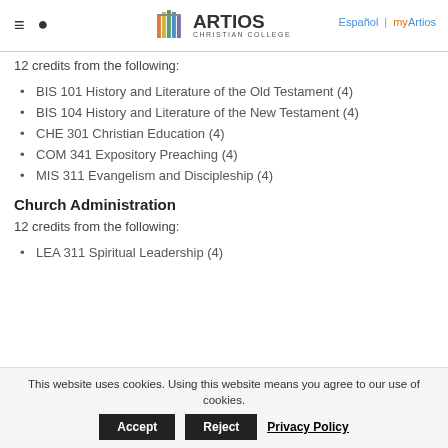Artios Christian College — Español | myArtios
12 credits from the following:
BIS 101 History and Literature of the Old Testament (4)
BIS 104 History and Literature of the New Testament (4)
CHE 301 Christian Education (4)
COM 341 Expository Preaching (4)
MIS 311 Evangelism and Discipleship (4)
Church Administration
12 credits from the following:
LEA 311 Spiritual Leadership (4)
This website uses cookies. Using this website means you agree to our use of cookies. Accept Reject Privacy Policy